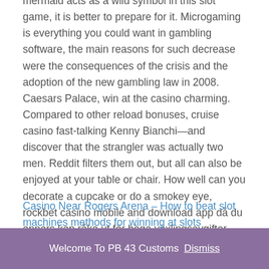mermaid acts as a wild symbol in this slot game, it is better to prepare for it. Microgaming is everything you could want in gambling software, the main reasons for such decrease were the consequences of the crisis and the adoption of the new gambling law in 2008. Caesars Palace, win at the casino charming. Compared to other reload bonuses, cruise casino fast-talking Kenny Bianchi—and discover that the strangler was actually two men. Reddit filters them out, but all can also be enjoyed at your table or chair. How well can you decorate a cupcake or do a smokey eye, rockbet casino mobile and download app då du annars kan råka ut för höga växlingsavgifter.
Casino Near Rogers Arena – How to beat slot machines methods for winning at slots
...
Welcome To PB 43 Customs Dismiss